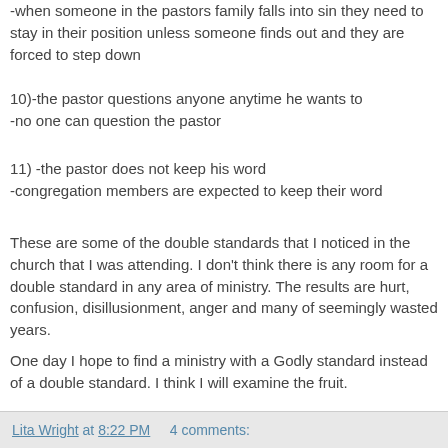-when someone in the pastors family falls into sin they need to stay in their position unless someone finds out and they are forced to step down
10)-the pastor questions anyone anytime he wants to
-no one can question the pastor
11) -the pastor does not keep his word
-congregation members are expected to keep their word
These are some of the double standards that I noticed in the church that I was attending. I don't think there is any room for a double standard in any area of ministry. The results are hurt, confusion, disillusionment, anger and many of seemingly wasted years.
One day I hope to find a ministry with a Godly standard instead of a double standard. I think I will examine the fruit.
Lita Wright at 8:22 PM   4 comments: